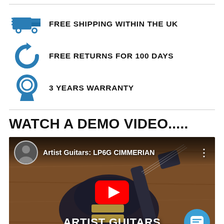FREE SHIPPING WITHIN THE UK
FREE RETURNS FOR 100 DAYS
3 YEARS WARRANTY
WATCH A DEMO VIDEO.....
[Figure (screenshot): YouTube video thumbnail showing an Artist Guitars LP6G Cimmerian electric guitar on a wooden surface, with YouTube play button overlay and 'Artist Guitars: LP6G CIMMERIAN' title text. A chat bubble icon is in the bottom right corner.]